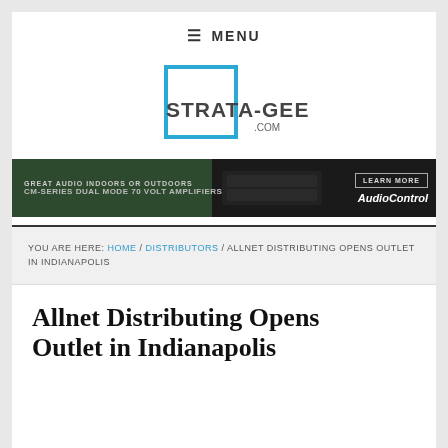≡ MENU
[Figure (logo): Strata-Gee.com logo — blue square outline with STRATA-GEE text and .COM in grey]
[Figure (photo): AudioControl advertisement banner — CM-Series Dual Mode 70 Volt Amplifiers, Great Audio Indoors or Outdoors, with LEARN MORE button]
YOU ARE HERE: HOME / DISTRIBUTORS / ALLNET DISTRIBUTING OPENS OUTLET IN INDIANAPOLIS
Allnet Distributing Opens Outlet in Indianapolis